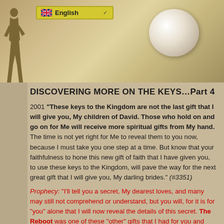[Figure (photo): Background photo of sandy/rocky terrain with a large white pearl visible on the right side. A silhouette of a person standing is on the left. A yellow dropdown language selector showing 'English' with a UK flag is in the upper portion.]
DISCOVERING MORE ON THE KEYS...Part 4
2001 "These keys to the Kingdom are not the last gift that I will give you, My children of David. Those who hold on and go on for Me will receive more spiritual gifts from My hand. The time is not yet right for Me to reveal them to you now, because I must take you one step at a time. But know that your faithfulness to hone this new gift of faith that I have given you, to use these keys to the Kingdom, will pave the way for the next great gift that I will give you, My darling brides." (#3351)
Prophecy: "I'll tell you a secret, My dearest loves, and many may still not comprehend or understand, but you will, for it is for "you" alone that I will now reveal the details of this secret. The Reboot was one of these "other" gifts that I had for you and those like you. You see, My gifts are not always wrapped in pretty packages, but one thing is for sure: My gifts are weighty